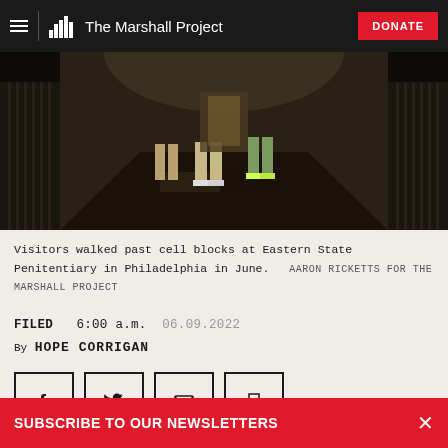The Marshall Project — DONATE
[Figure (photo): Dark corridor of a prison cell block with visitors/people walking past, seen from behind, wearing casual clothing. Eastern State Penitentiary, Philadelphia.]
Visitors walked past cell blocks at Eastern State Penitentiary in Philadelphia in June. AARON RICKETTS FOR THE MARSHALL PROJECT
FILED  6:00 a.m.  06.09.2022
By HOPE CORRIGAN
[Figure (other): Social sharing buttons: Facebook, Twitter, Email, Print]
SUBSCRIBE TO OUR NEWSLETTERS